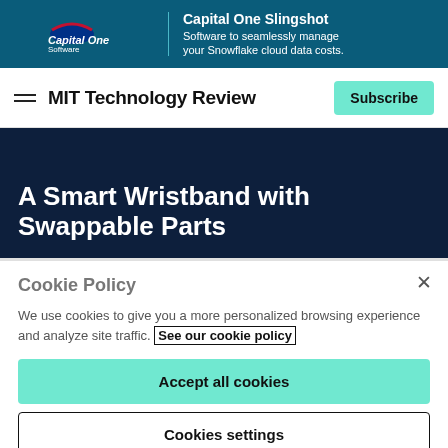[Figure (screenshot): Capital One Software advertisement banner with dark teal background, Capital One logo on left, vertical divider, and text 'Capital One Slingshot - Software to seamlessly manage your Snowflake cloud data costs.']
MIT Technology Review
A Smart Wristband with Swappable Parts
Cookie Policy
We use cookies to give you a more personalized browsing experience and analyze site traffic. See our cookie policy
Accept all cookies
Cookies settings